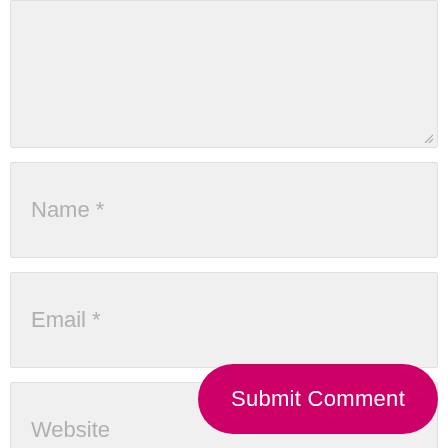[Figure (screenshot): Partial textarea input field (top portion cut off), showing a light grey background with a resize handle in the bottom right corner.]
Name *
Email *
Website
Save my name, email, and website in this browser for the next time I comment.
Submit Comment